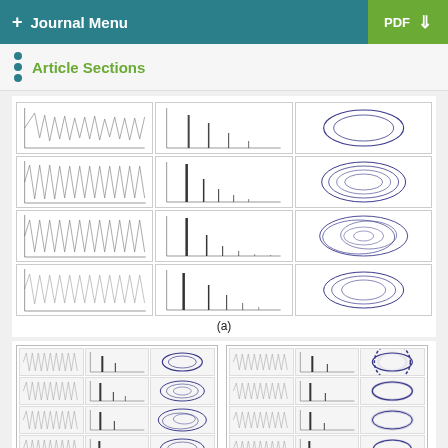+ Journal Menu | PDF ↓
Article Sections
[Figure (continuous-plot): 4x3 grid of scientific plots showing time-domain waveforms (left column), frequency spectra (middle column), and phase-space portraits/Poincaré maps (right column) for 4 different scenarios. The phase portraits show blue closed curves indicating periodic or quasi-periodic motion. Labeled (a).]
(a)
[Figure (continuous-plot): Two side-by-side multi-panel figures, each showing a 4x3 grid of plots with time series, frequency spectra, and blue phase-space portraits. Left figure shows elliptical orbits, right figure shows circular ring-like orbits.]